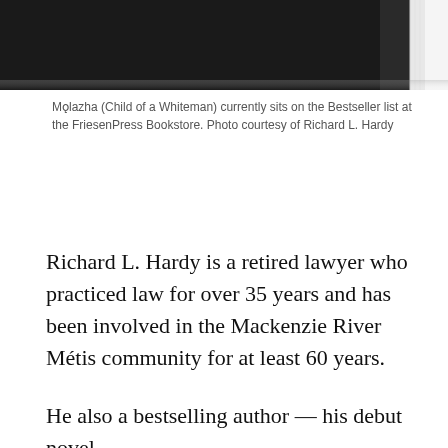[Figure (photo): Partial view of a book cover — mostly black with a white right edge and spine visible, cropped at the top of the page.]
Mǫlazha (Child of a Whiteman) currently sits on the Bestseller list at the FriesenPress Bookstore. Photo courtesy of Richard L. Hardy
Richard L. Hardy is a retired lawyer who practiced law for over 35 years and has been involved in the Mackenzie River Métis community for at least 60 years.
He also a bestselling author — his debut novel,